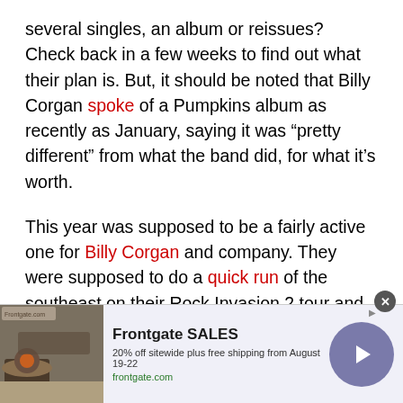several singles, an album or reissues? Check back in a few weeks to find out what their plan is. But, it should be noted that Billy Corgan spoke of a Pumpkins album as recently as January, saying it was “pretty different” from what the band did, for what it’s worth.
This year was supposed to be a fairly active one for Billy Corgan and company. They were supposed to do a quick run of the southeast on their Rock Invasion 2 tour and were slated to open for Guns N’ Roses on select stadium dates. But that whole COVID thing got in the way of their well-laid plans.
[Figure (screenshot): Advertisement banner for Frontgate SALES: 20% off sitewide plus free shipping from August 19-22. frontgate.com. Shows an outdoor patio fire pit image on the left, text in the middle, and a purple circular arrow button on the right.]